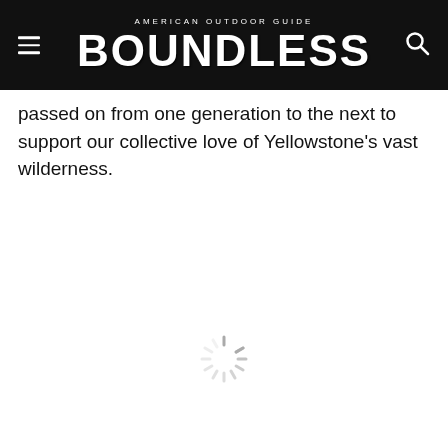AMERICAN OUTDOOR GUIDE BOUNDLESS
passed on from one generation to the next to support our collective love of Yellowstone's vast wilderness.
[Figure (other): Loading spinner / activity indicator graphic in the lower center of the page]